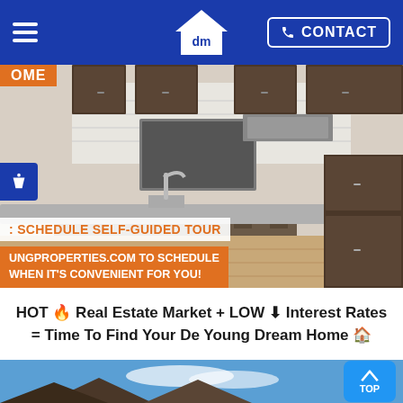dm | CONTACT
[Figure (photo): Interior kitchen photo with dark wood cabinets, white subway tile backsplash, and granite island countertop. Overlaid text: 'OME' orange tab, 'SCHEDULE SELF-GUIDED TOUR', 'UNGPROPERTIES.COM TO SCHEDULE WHEN IT’S CONVENIENT FOR YOU!']
HOT 🔥 Real Estate Market + LOW ⬇ Interest Rates = Time To Find Your De Young Dream Home 🏠
[Figure (photo): Exterior photo of homes against blue sky with clouds. Bottom right corner has a blue 'TOP' back-to-top button with chevron up arrow.]